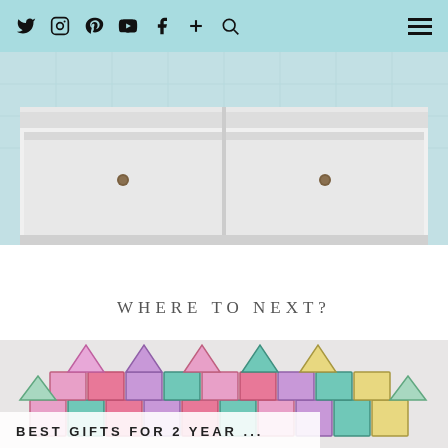Social media icons: Twitter, Instagram, Pinterest, YouTube, Facebook, Plus, Search; Hamburger menu
[Figure (photo): White dresser/low chest with two drawers and small round dark knobs, against a light blue and white tiled background]
WHERE TO NEXT?
[Figure (photo): Colorful pastel magnetic tiles (Magna-Tiles) arranged in a castle-like structure on a light grey background]
BEST GIFTS FOR 2 YEAR ...